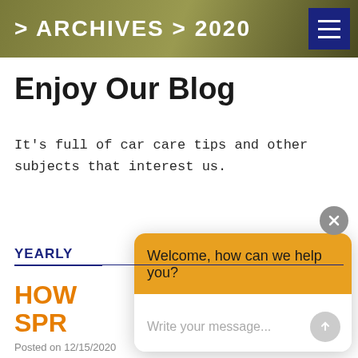> ARCHIVES > 2020
Enjoy Our Blog
It's full of car care tips and other subjects that interest us.
YEARLY
HOW SPR
Posted on 12/15/2020
[Figure (screenshot): Chat widget overlay with orange header saying 'Welcome, how can we help you?' and a message input area with placeholder text 'Write your message...' and a send button. A close (X) button appears in the top-right corner of the widget.]